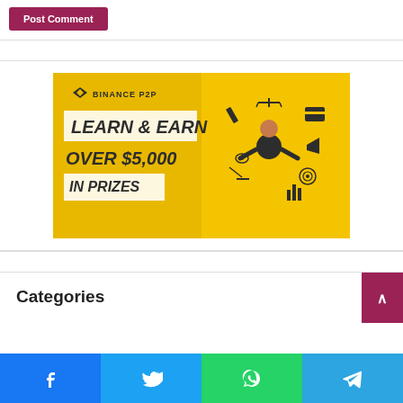Post Comment
[Figure (illustration): Binance P2P advertisement banner: yellow background with text 'LEARN & EARN OVER $5,000 IN PRIZES' on the left side, and an illustrated character meditating surrounded by finance/crypto icons on the right side]
Categories
[Figure (infographic): Social share bar with Facebook, Twitter, WhatsApp, and Telegram buttons]